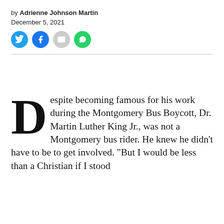by Adrienne Johnson Martin
December 5, 2021
[Figure (infographic): Four social sharing icon buttons: Twitter (blue), Facebook (blue), Email (gray), WhatsApp (green)]
Despite becoming famous for his work during the Montgomery Bus Boycott, Dr. Martin Luther King Jr., was not a Montgomery bus rider. He knew he didn't have to be to get involved. "But I would be less than a Christian if I stood by and aside, because I don't ride the bus,"